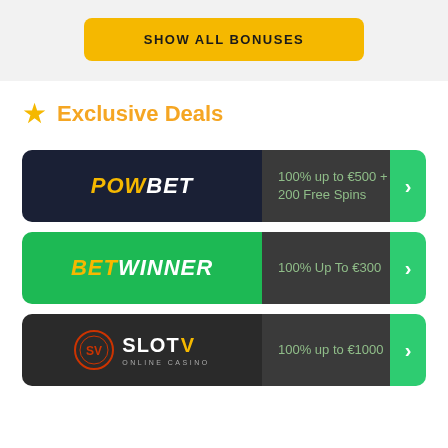SHOW ALL BONUSES
Exclusive Deals
POWBET — 100% up to €500 + 200 Free Spins
BETWINNER — 100% Up To €300
SLOT V ONLINE CASINO — 100% up to €1000